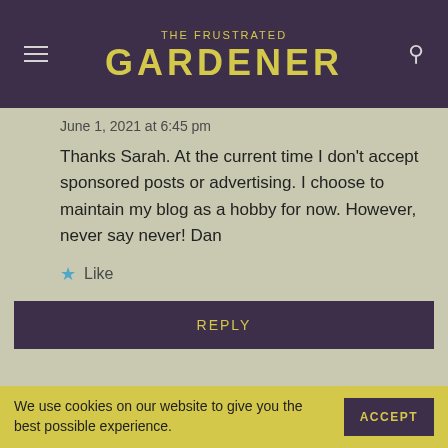THE FRUSTRATED GARDENER
June 1, 2021 at 6:45 pm
Thanks Sarah. At the current time I don't accept sponsored posts or advertising. I choose to maintain my blog as a hobby for now. However, never say never! Dan
Like
REPLY
REBECCA CULLEN
September 5, 2021 at 8:28 pm
We use cookies on our website to give you the best possible experience.
ACCEPT